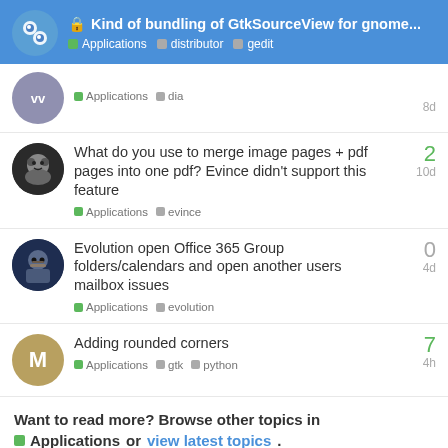Kind of bundling of GtkSourceView for gnome... Applications distributor gedit
Applications  dia  8d
What do you use to merge image pages + pdf pages into one pdf? Evince didn't support this feature  Applications  evince  10d  2
Evolution open Office 365 Group folders/calendars and open another users mailbox issues  Applications  evolution  4d  0
Adding rounded corners  Applications  gtk  python  4h  7
Want to read more? Browse other topics in
Applications or view latest topics.